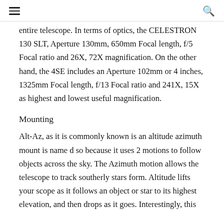≡  🔍
entire telescope. In terms of optics, the CELESTRON 130 SLT, Aperture 130mm, 650mm Focal length, f/5 Focal ratio and 26X, 72X magnification. On the other hand, the 4SE includes an Aperture 102mm or 4 inches, 1325mm Focal length, f/13 Focal ratio and 241X, 15X as highest and lowest useful magnification.
Mounting
Alt-Az, as it is commonly known is an altitude azimuth mount is name d so because it uses 2 motions to follow objects across the sky. The Azimuth motion allows the telescope to track southerly stars form. Altitude lifts your scope as it follows an object or star to its highest elevation, and then drops as it goes. Interestingly, this